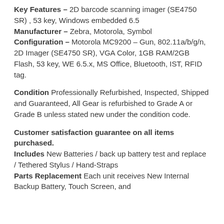Key Features – 2D barcode scanning imager (SE4750 SR) , 53 key, Windows embedded 6.5
Manufacturer – Zebra, Motorola, Symbol
Configuration – Motorola MC9200 – Gun, 802.11a/b/g/n, 2D Imager (SE4750 SR), VGA Color, 1GB RAM/2GB Flash, 53 key, WE 6.5.x, MS Office, Bluetooth, IST, RFID tag.
Condition Professionally Refurbished, Inspected, Shipped and Guaranteed, All Gear is refurbished to Grade A or Grade B unless stated new under the condition code.
Customer satisfaction guarantee on all items purchased.
Includes New Batteries / back up battery test and replace / Tethered Stylus / Hand-Straps
Parts Replacement Each unit receives New Internal Backup Battery, Touch Screen, and more.